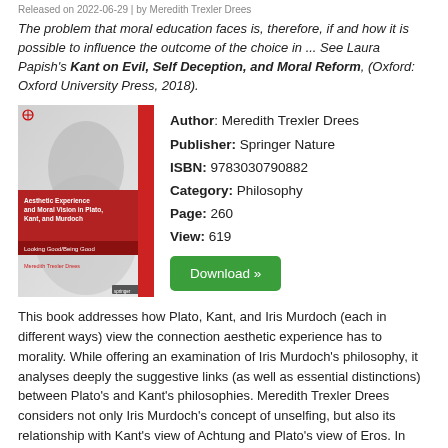Released on 2022-06-29 | by Meredith Trexler Drees
The problem that moral education faces is, therefore, if and how it is possible to influence the outcome of the choice in ... See Laura Papish's Kant on Evil, Self Deception, and Moral Reform, (Oxford: Oxford University Press, 2018).
[Figure (illustration): Book cover of 'Aesthetic Experience and Moral Vision in Plato, Kant, and Murdoch: Looking Good/Being Good' by Meredith Trexler Drees, Springer Nature. Gray and white cover with red band.]
Author: Meredith Trexler Drees
Publisher: Springer Nature
ISBN: 9783030790882
Category: Philosophy
Page: 260
View: 619
Download »
This book addresses how Plato, Kant, and Iris Murdoch (each in different ways) view the connection aesthetic experience has to morality. While offering an examination of Iris Murdoch's philosophy, it analyses deeply the suggestive links (as well as essential distinctions) between Plato's and Kant's philosophies. Meredith Trexler Drees considers not only Iris Murdoch's concept of unselfing, but also its relationship with Kant's view of Achtung and Plato's view of Eros. In addition, Trexler Drees suggests an extended, and partially amended, version of Murdoch's view, arguing that it is more compatible with a religious way of life than Murdoch herself realized. This